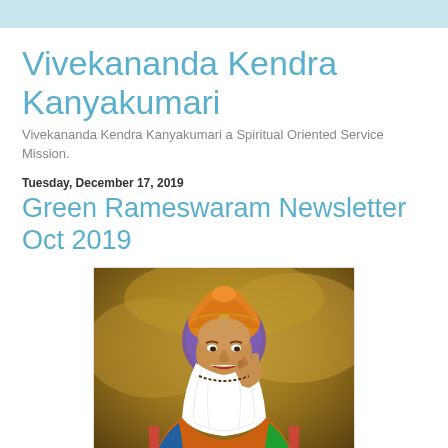Vivekananda Kendra Kanyakumari
Vivekananda Kendra Kanyakumari a Spiritual Oriented Service Mission.
Tuesday, December 17, 2019
Green Rameswaram Newsletter Oct 2019
[Figure (illustration): Painted illustration of Guru Nanak Dev Ji wearing an orange/golden turban with a purple halo, white beard, raising one finger, wearing colorful robes. Text at bottom left reads 'Sri Guru Nanak Dev'.]